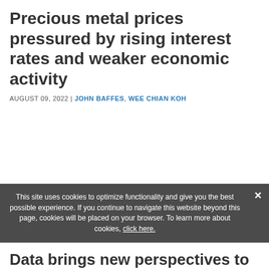Precious metal prices pressured by rising interest rates and weaker economic activity
AUGUST 09, 2022 | JOHN BAFFES, WEE CHIAN KOH
This site uses cookies to optimize functionality and give you the best possible experience. If you continue to navigate this website beyond this page, cookies will be placed on your browser. To learn more about cookies, click here.
Data brings new perspectives to